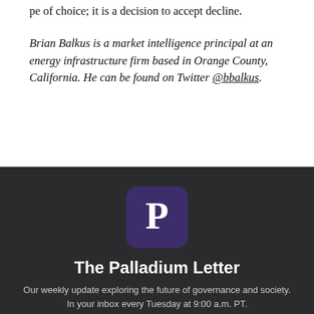pe of choice; it is a decision to accept decline.
Brian Balkus is a market intelligence principal at an energy infrastructure firm based in Orange County, California. He can be found on Twitter @bbalkus.
[Figure (logo): Palladium Letter logo: dark purple rounded square with white letter P]
The Palladium Letter
Our weekly update exploring the future of governance and society. In your inbox every Tuesday at 9:00 a.m. PT.